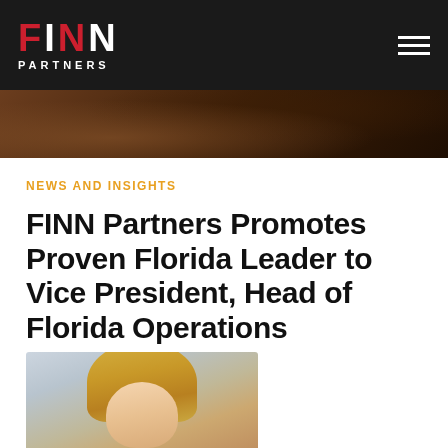FINN PARTNERS — navigation bar with hamburger menu
[Figure (photo): Dark brown wood/desk surface hero banner image]
NEWS AND INSIGHTS
FINN Partners Promotes Proven Florida Leader to Vice President, Head of Florida Operations
April 18, 2021
[Figure (photo): Headshot photo of a blonde woman, cropped at top of frame]